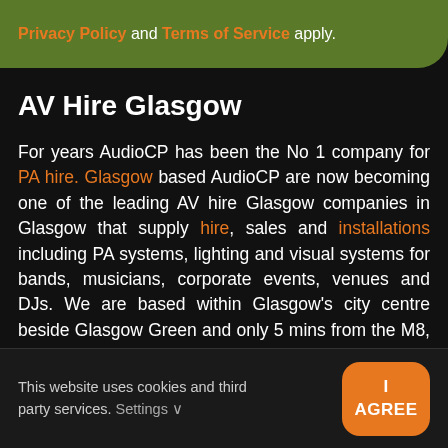Privacy Policy and Terms of Service apply.
AV Hire Glasgow
For years AudioCP has been the No 1 company for PA hire. Glasgow based AudioCP are now becoming one of the leading AV hire Glasgow companies in Glasgow that supply hire, sales and installations including PA systems, lighting and visual systems for bands, musicians, corporate events, venues and DJs. We are based within Glasgow's city centre beside Glasgow Green and only 5 mins from the M8, M77 and M74
This website uses cookies and third party services. Settings